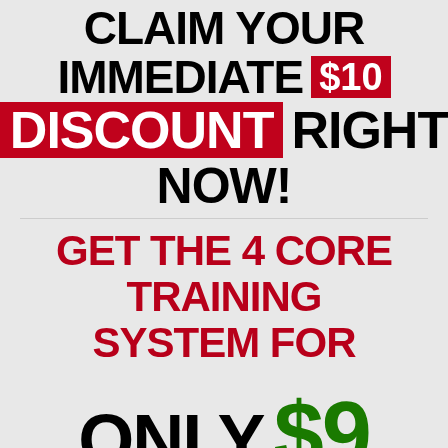CLAIM YOUR IMMEDIATE $10 DISCOUNT RIGHT NOW!
GET THE 4 CORE TRAINING SYSTEM FOR
ONLY $9